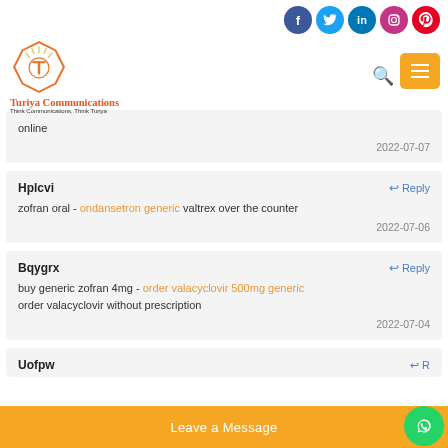Turiya Communications - Think Communications, Think Turiya
online
2022-07-07
Hplcvi Reply
zofran oral - ondansetron generic valtrex over the counter
2022-07-06
Bqygrx Reply
buy generic zofran 4mg - order valacyclovir 500mg generic
order valacyclovir without prescription
2022-07-04
Uofpw... Reply
Leave a Message